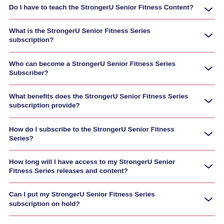Do I have to teach the StrongerU Senior Fitness Content?
What is the StrongerU Senior Fitness Series subscription?
Who can become a StrongerU Senior Fitness Series Subscriber?
What benefits does the StrongerU Senior Fitness Series subscription provide?
How do I subscribe to the StrongerU Senior Fitness Series?
How long will I have access to my StrongerU Senior Fitness Series releases and content?
Can I put my StrongerU Senior Fitness Series subscription on hold?